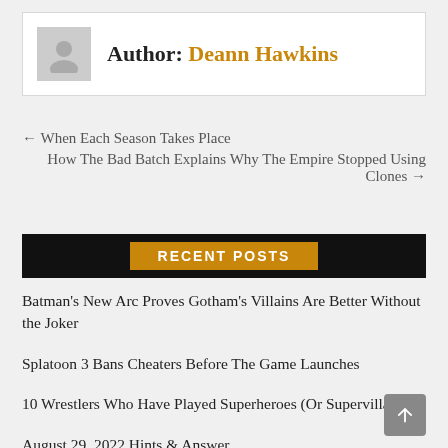Author: Deann Hawkins
← When Each Season Takes Place
How The Bad Batch Explains Why The Empire Stopped Using Clones →
RECENT POSTS
Batman's New Arc Proves Gotham's Villains Are Better Without the Joker
Splatoon 3 Bans Cheaters Before The Game Launches
10 Wrestlers Who Have Played Superheroes (Or Supervillains)
August 29, 2022 Hints & Answer
Teenage Mutant Ninja Turtles: The Cowabunga Collection